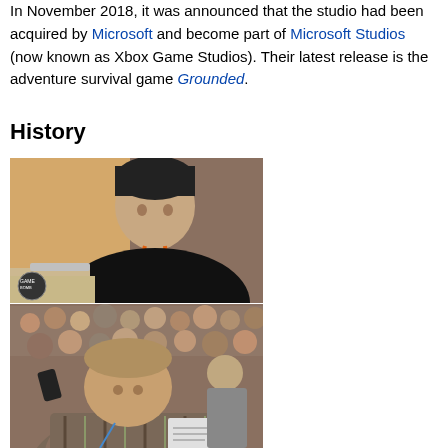In November 2018, it was announced that the studio had been acquired by Microsoft and become part of Microsoft Studios (now known as Xbox Game Studios). Their latest release is the adventure survival game Grounded.
History
[Figure (photo): Two stacked photos: top shows a man with dark hair wearing a black shirt and orange lanyard at what appears to be a convention; bottom shows a crowd of people seated in an auditorium, with a smiling heavyset man in a plaid shirt prominently in the foreground.]